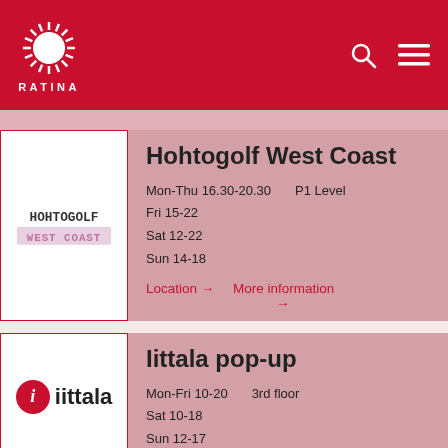RATINA
[Figure (logo): Hohtogolf West Coast pixel art logo]
Hohtogolf West Coast
Mon-Thu 16.30-20.30   P1 Level
Fri 15-22
Sat 12-22
Sun 14-18
Location →
More information →
[Figure (logo): iittala red circle with i logo and iittala text]
Iittala pop-up
Mon-Fri 10-20   3rd floor
Sat 10-18
Sun 12-17